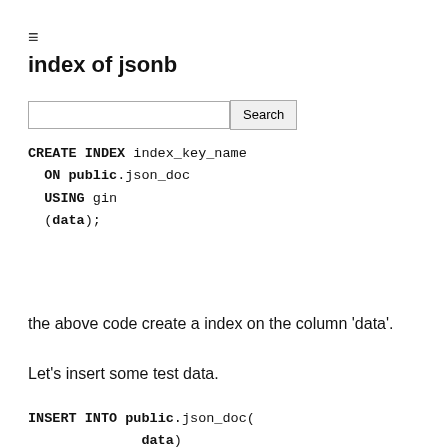≡
index of jsonb
[Search bar]
CREATE INDEX index_key_name
  ON public.json_doc
  USING gin
  (data);
the above code create a index on the column 'data'.
Let's insert some test data.
INSERT INTO public.json_doc(
              data)
    VALUES (
'
{
    "guid": "9c36adc1-7fb5-4d5b-83b4-90356a46061a",
    "name": "Angela Barton",
    "isactive":